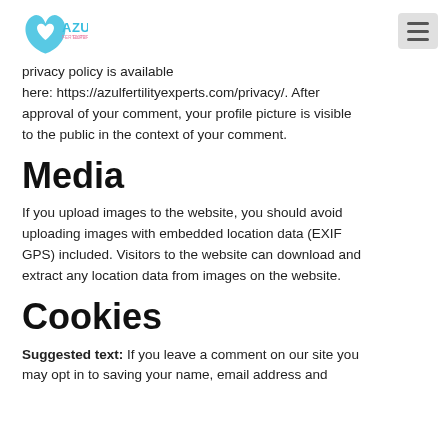Azul Fertility Experts
privacy policy is available here: https://azulfertilityexperts.com/privacy/. After approval of your comment, your profile picture is visible to the public in the context of your comment.
Media
If you upload images to the website, you should avoid uploading images with embedded location data (EXIF GPS) included. Visitors to the website can download and extract any location data from images on the website.
Cookies
Suggested text: If you leave a comment on our site you may opt in to saving your name, email address and